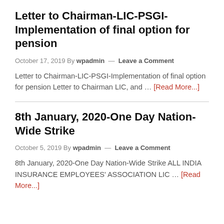Letter to Chairman-LIC-PSGI-Implementation of final option for pension
October 17, 2019 By wpadmin — Leave a Comment
Letter to Chairman-LIC-PSGI-Implementation of final option for pension Letter to Chairman LIC, and … [Read More...]
8th January, 2020-One Day Nation-Wide Strike
October 5, 2019 By wpadmin — Leave a Comment
8th January, 2020-One Day Nation-Wide Strike ALL INDIA INSURANCE EMPLOYEES' ASSOCIATION LIC … [Read More...]